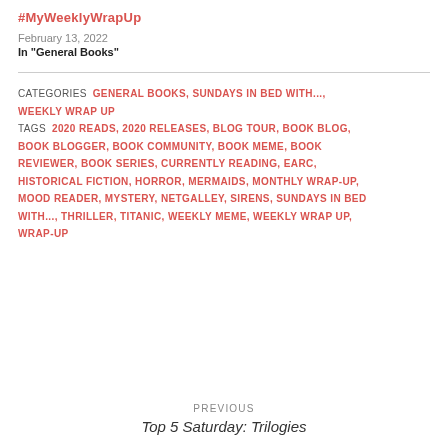#MyWeeklyWrapUp
February 13, 2022
In "General Books"
CATEGORIES  GENERAL BOOKS, SUNDAYS IN BED WITH..., WEEKLY WRAP UP
TAGS  2020 READS, 2020 RELEASES, BLOG TOUR, BOOK BLOG, BOOK BLOGGER, BOOK COMMUNITY, BOOK MEME, BOOK REVIEWER, BOOK SERIES, CURRENTLY READING, EARC, HISTORICAL FICTION, HORROR, MERMAIDS, MONTHLY WRAP-UP, MOOD READER, MYSTERY, NETGALLEY, SIRENS, SUNDAYS IN BED WITH..., THRILLER, TITANIC, WEEKLY MEME, WEEKLY WRAP UP, WRAP-UP
PREVIOUS
Top 5 Saturday: Trilogies